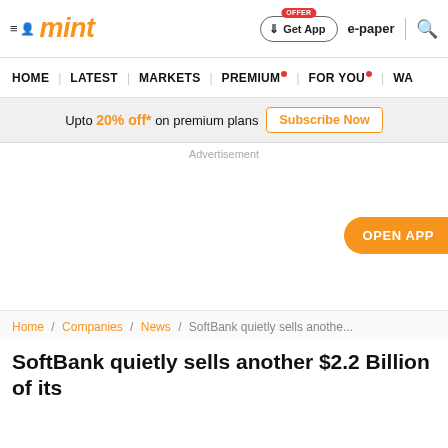mint
HOME | LATEST | MARKETS | PREMIUM | FOR YOU | WA...
Upto 20% off* on premium plans  Subscribe Now
Advertisement
OPEN APP
Home / Companies / News / SoftBank quietly sells anothe...
SoftBank quietly sells another $2.2 Billion of its